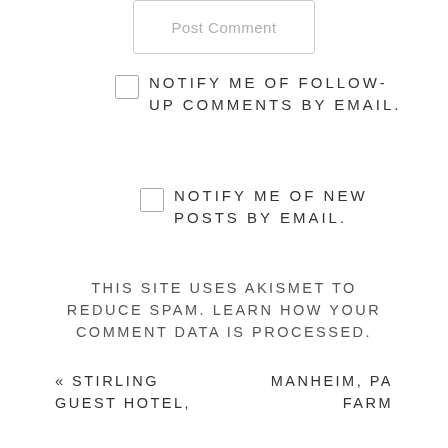[Figure (screenshot): Post Comment button with light grey border and light grey text]
NOTIFY ME OF FOLLOW-UP COMMENTS BY EMAIL.
NOTIFY ME OF NEW POSTS BY EMAIL.
THIS SITE USES AKISMET TO REDUCE SPAM. LEARN HOW YOUR COMMENT DATA IS PROCESSED.
« STIRLING GUEST HOTEL,
MANHEIM, PA FARM